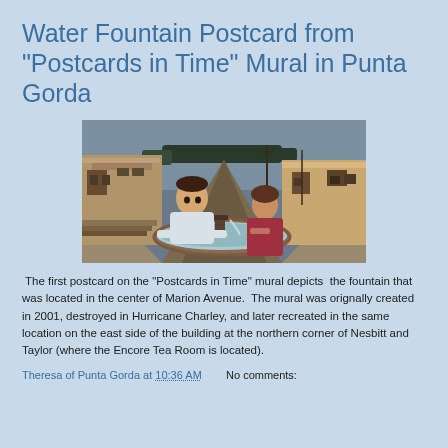Water Fountain Postcard from "Postcards in Time" Mural in Punta Gorda
[Figure (illustration): A mural painting depicting a man and woman at a water fountain located in the center of Marion Avenue, with old buildings lining both sides of the street receding into the background.]
The first postcard on the "Postcards in Time" mural depicts  the fountain that was located in the center of Marion Avenue.  The mural was orignally created in 2001, destroyed in Hurricane Charley, and later recreated in the same location on the east side of the building at the northern corner of Nesbitt and Taylor (where the Encore Tea Room is located).
Theresa of Punta Gorda at 10:36 AM    No comments: